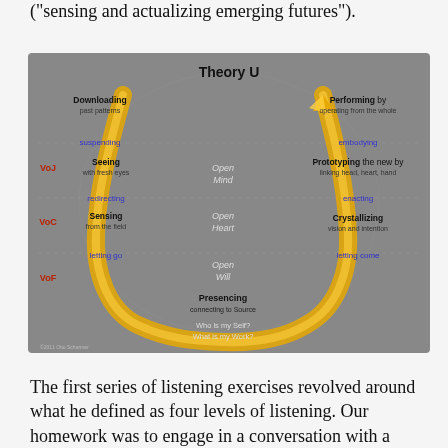("sensing and actualizing emerging futures").
[Figure (infographic): Theory U diagram showing a U-shaped path with a golden arrow. Left side descending: Downloading (past patterns), suspending, Seeing (with fresh eyes), VoJ, redirecting, Sensing (from the field), VoC, letting go, VoF. Bottom: Presencing (connecting to Source), Open Will, Who is my Self? What is my Work? Center: Open Mind, Open Heart. Right side ascending: embodying, Prototyping the new by linking head heart hand, enacting, Crystallizing vision and intention, letting come, Performing by operating from the whole.]
The first series of listening exercises revolved around what he defined as four levels of listening. Our homework was to engage in a conversation with a complete stranger –